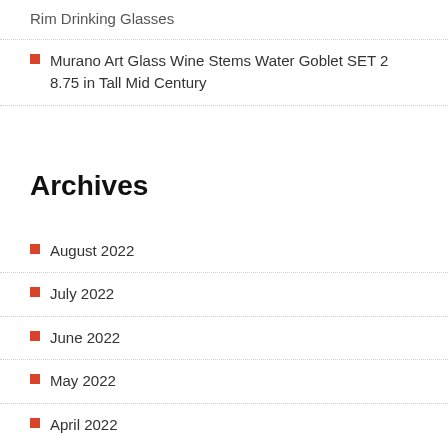Rim Drinking Glasses
Murano Art Glass Wine Stems Water Goblet SET 2 8.75 in Tall Mid Century
Archives
August 2022
July 2022
June 2022
May 2022
April 2022